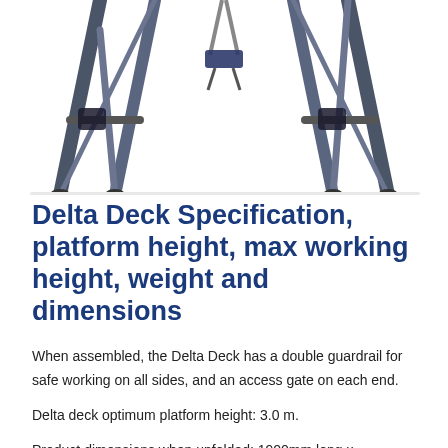[Figure (photo): Photo of Delta Deck scaffolding platform legs viewed from below, showing A-frame metal legs in dark grey/blue tones against white background]
Delta Deck Specification, platform height, max working height, weight and dimensions
When assembled, the Delta Deck has a double guardrail for safe working on all sides, and an access gate on each end.
Delta deck optimum platform height: 3.0 m.
Product dimensions when unfolded: 1900mm long x